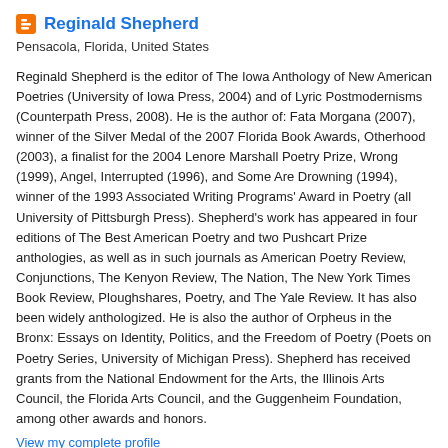Reginald Shepherd
Pensacola, Florida, United States
Reginald Shepherd is the editor of The Iowa Anthology of New American Poetries (University of Iowa Press, 2004) and of Lyric Postmodernisms (Counterpath Press, 2008). He is the author of: Fata Morgana (2007), winner of the Silver Medal of the 2007 Florida Book Awards, Otherhood (2003), a finalist for the 2004 Lenore Marshall Poetry Prize, Wrong (1999), Angel, Interrupted (1996), and Some Are Drowning (1994), winner of the 1993 Associated Writing Programs' Award in Poetry (all University of Pittsburgh Press). Shepherd's work has appeared in four editions of The Best American Poetry and two Pushcart Prize anthologies, as well as in such journals as American Poetry Review, Conjunctions, The Kenyon Review, The Nation, The New York Times Book Review, Ploughshares, Poetry, and The Yale Review. It has also been widely anthologized. He is also the author of Orpheus in the Bronx: Essays on Identity, Politics, and the Freedom of Poetry (Poets on Poetry Series, University of Michigan Press). Shepherd has received grants from the National Endowment for the Arts, the Illinois Arts Council, the Florida Arts Council, and the Guggenheim Foundation, among other awards and honors.
View my complete profile